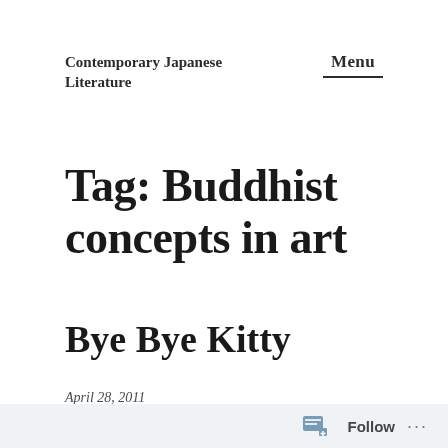Contemporary Japanese Literature
Menu
Tag: Buddhist concepts in art
Bye Bye Kitty
April 28, 2011
Follow ...